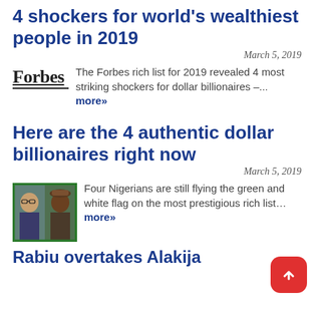4 shockers for world's wealthiest people in 2019
March 5, 2019
The Forbes rich list for 2019 revealed 4 most striking shockers for dollar billionaires –... more»
Here are the 4 authentic dollar billionaires right now
March 5, 2019
[Figure (photo): Two Nigerian billionaires shown side by side in a thumbnail photo with green border]
Four Nigerians are still flying the green and white flag on the most prestigious rich list… more»
Rabiu overtakes Alakija